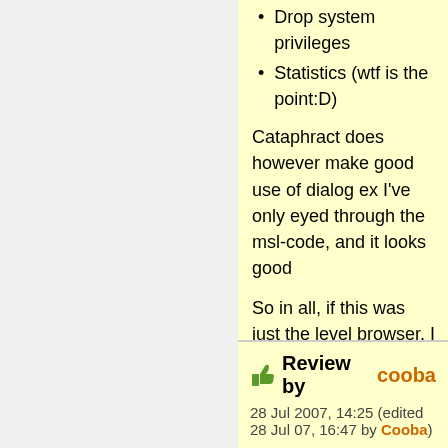Drop system privileges
Statistics (wtf is the point:D)
Cataphract does however make good use of dialog ex I've only eyed through the msl-code, and it looks good
So in all, if this was just the level browser, I would have work here, from version to version that is). To me, thou than via a dialog really sucks because it closes as soo freelier, masse thank you, Cataphract!
This gets an 7.5, and a download recommendation in
EDIT: This script ONLY uses the socket functions to: 1 4) Download the updates. 5) Get the list server statisti
What about the UDP functionality?
3 of 3 users found th
Review by cooba
28 Jul 2007, 14:25 (edited 28 Jul 07, 16:47 by Cooba)